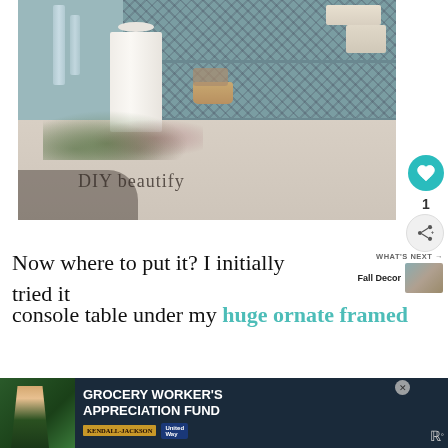[Figure (photo): Photo of a decorative home scene: a white pillar candle with floral greenery arrangement in front of a blue painted cabinet/hutch with patterned wallpaper backing and decorative items on shelves. Watermark text 'DIY beautify' overlaid on the bottom of the image.]
Now where to put it? I initially tried it console table under my huge ornate framed
[Figure (photo): Small thumbnail image of fall decor with 'WHAT'S NEXT → Fall Decor' label]
[Figure (infographic): Advertisement banner: GROCERY WORKER'S APPRECIATION FUND with Kendall-Jackson and United Way logos, dark navy background, image of grocery worker on left]